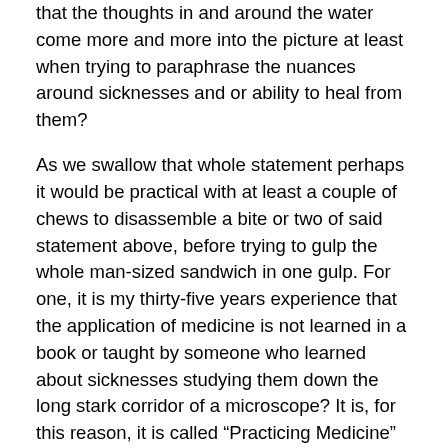that the thoughts in and around the water come more and more into the picture at least when trying to paraphrase the nuances around sicknesses and or ability to heal from them?
As we swallow that whole statement perhaps it would be practical with at least a couple of chews to disassemble a bite or two of said statement above, before trying to gulp the whole man-sized sandwich in one gulp. For one, it is my thirty-five years experience that the application of medicine is not learned in a book or taught by someone who learned about sicknesses studying them down the long stark corridor of a microscope? It is, for this reason, it is called “Practicing Medicine” and not mastering it, working it, or playing it, although when I look at some of the students that come out of the schools these days they know as much about actually treating people, as they